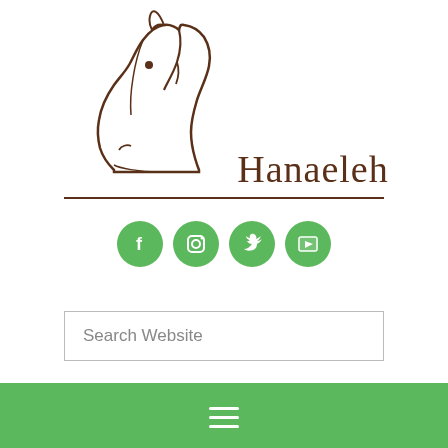[Figure (logo): Hanaeleh horse head logo with stylized horse illustration and brand name 'Hanaeleh' in serif font with underline]
[Figure (infographic): Four green circular social media icons: Facebook (f), Instagram (camera), Twitter (bird), YouTube (play button)]
Search Website
[Figure (infographic): Green navigation bar with white hamburger menu icon (three horizontal lines)]
Los Angeles, CA: Two